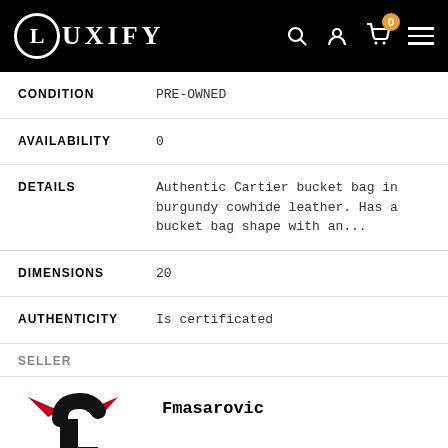LUXIFY
| Field | Value |
| --- | --- |
| CONDITION | PRE-OWNED |
| AVAILABILITY | 0 |
| DETAILS | Authentic Cartier bucket bag in burgundy cowhide leather. Has a bucket bag shape with an... |
| DIMENSIONS | 20 |
| AUTHENTICITY | Is certificated |
SELLER
[Figure (logo): Fmasarovic seller logo - stylized letter f with red devil horns]
Fmasarovic